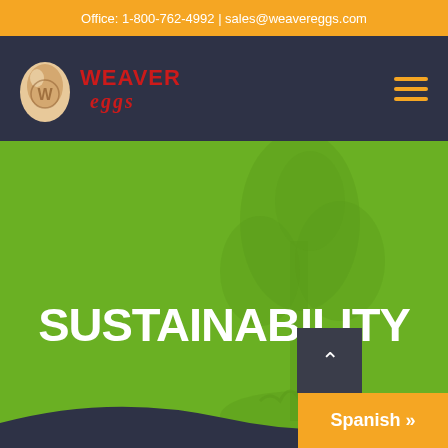Office: 1-800-762-4992 | sales@weavereggs.com
[Figure (logo): Weaver Eggs logo with egg illustration and red text reading WEAVER EGGS]
SUSTAINABILITY
Spanish »